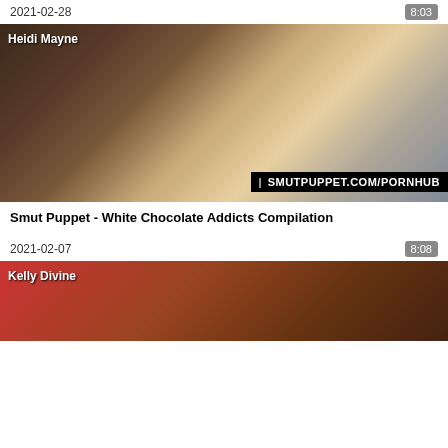2021-02-28
8:03
[Figure (photo): Video thumbnail showing person labeled Heidi Mayne with watermark SMUTPUPPET.COM/PORNHUB]
Smut Puppet - White Chocolate Addicts Compilation
2021-02-07
8:08
[Figure (photo): Partially visible video thumbnail showing person labeled Kelly Divine]